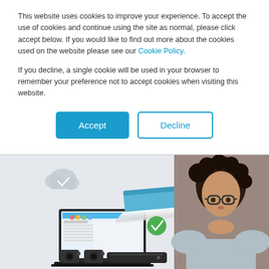This website uses cookies to improve your experience. To accept the use of cookies and continue using the site as normal, please click accept below. If you would like to find out more about the cookies used on the website please see our Cookie Policy.
If you decline, a single cookie will be used in your browser to remember your preference not to accept cookies when visiting this website.
[Figure (screenshot): Cookie consent dialog with Accept (blue filled button) and Decline (outlined button) options, above a product illustration showing a laptop with software UI, a document scanner device, camera hardware, and a photo of a young man with glasses and curly hair thinking]